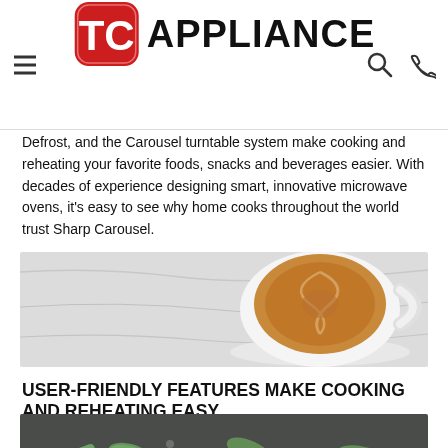TC APPLIANCE
Defrost, and the Carousel turntable system make cooking and reheating your favorite foods, snacks and beverages easier. With decades of experience designing smart, innovative microwave ovens, it's easy to see why home cooks throughout the world trust Sharp Carousel.
[Figure (photo): Top-down view of a coffee cup with latte art on a marble surface]
USER-FRIENDLY FEATURES MAKE COOKING AND REHEATING EASY
[Figure (photo): Frozen green vegetables (okra/green beans) in a pan]